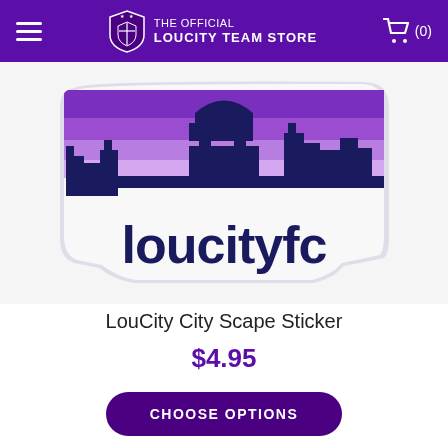THE OFFICIAL LOUCITY TEAM STORE
[Figure (illustration): LouCity City Scape Sticker product image — a die-cut sticker showing a purple striped skyline with 'loucityfc' text in dark navy, with white outline/border on light background.]
LouCity City Scape Sticker
$4.95
CHOOSE OPTIONS